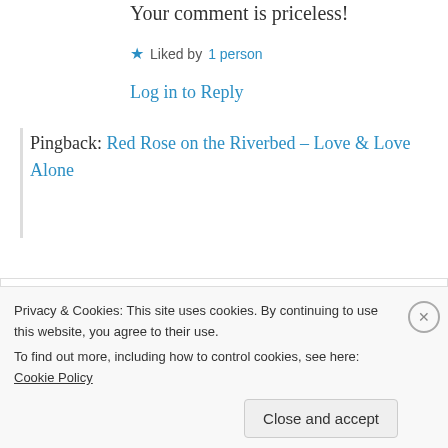Your comment is priceless!
★ Liked by 1 person
Log in to Reply
Pingback: Red Rose on the Riverbed – Love & Love Alone
henhouselady
9th Jun 2021 at 4:25 pm
Privacy & Cookies: This site uses cookies. By continuing to use this website, you agree to their use.
To find out more, including how to control cookies, see here: Cookie Policy